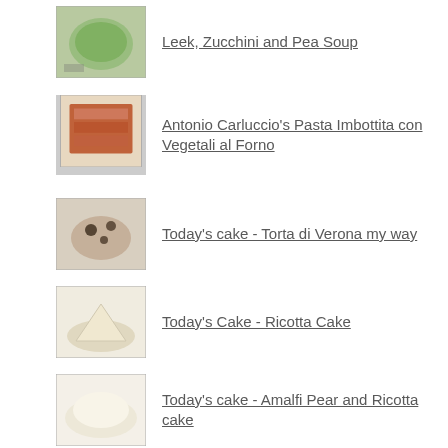Leek, Zucchini and Pea Soup
Antonio Carluccio's Pasta Imbottita con Vegetali al Forno
Today's cake - Torta di Verona my way
Today's Cake - Ricotta Cake
Today's cake - Amalfi Pear and Ricotta cake
Recipes
RECENT POSTS
In My Kitchen, August 2019
In My Kitchen, February 2019